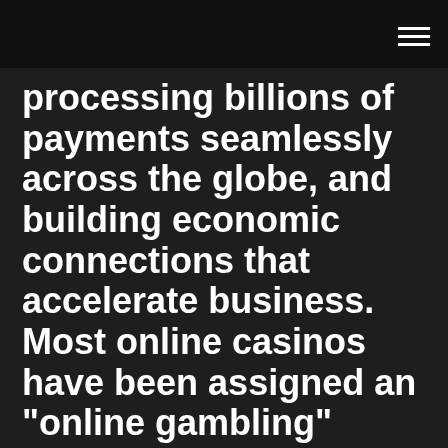processing billions of payments seamlessly across the globe, and building economic connections that accelerate business. Most online casinos have been assigned an "online gambling" merchant code by MasterCard.
USA online casinos that accept MasterCard and get MasterCard deposits approved. Deposit with a USA MasterCard credit card to online casinos. MST Gift Card Casinos | Online Casinos Accepting MST Prepaid Cards MST gift cards offer a reliable prepaid deposit option for online casinos... as Visa, MasterCard, or American Express, and